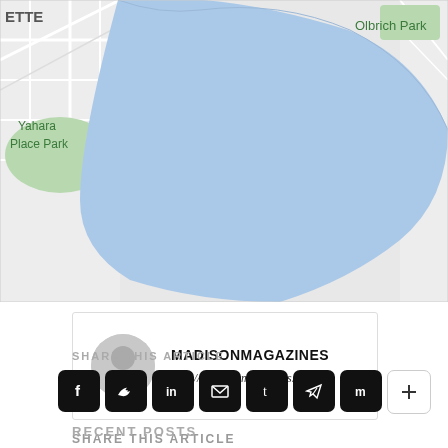[Figure (map): Google Maps screenshot showing a lake (blue water area) with Yahara Place Park label on the left, Olbrich Park label on the upper right, and ETTE text on the upper left edge. The map shows a large blue body of water curving around with green park areas and streets.]
[Figure (other): Author/profile card with a gray circle avatar icon on the left and MADISONMAGAZINES in bold black uppercase text with website URL http://madisonmagazines.com in italic below, all in a white box with border.]
SHARE THIS ARTICLE
[Figure (other): Row of 8 social share buttons: Facebook (f), Twitter (bird), LinkedIn (in), Email (envelope), Tumblr (t), Telegram (paper plane), Mix (m) — all black square buttons with white icons, and a white + button at the end.]
RECENT POSTS